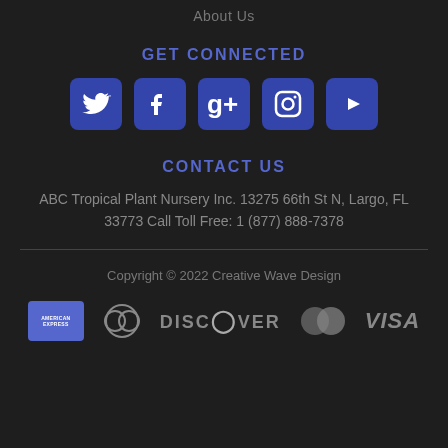About Us
GET CONNECTED
[Figure (other): Social media icons: Twitter, Facebook, Google+, Instagram, YouTube]
CONTACT US
ABC Tropical Plant Nursery Inc. 13275 66th St N, Largo, FL 33773 Call Toll Free: 1 (877) 888-7378
Copyright © 2022 Creative Wave Design
[Figure (other): Payment method icons: American Express, Diners Club, Discover, MasterCard, Visa]